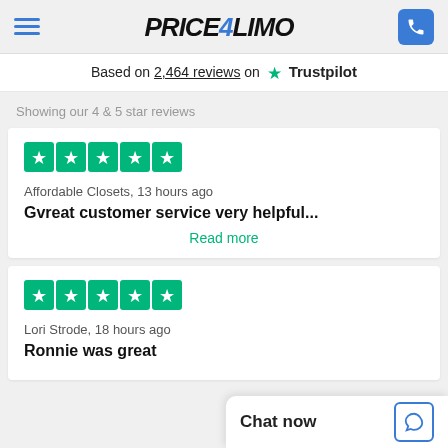Price4Limo — navigation header with logo and phone button
Based on 2,464 reviews on Trustpilot
Showing our 4 & 5 star reviews
[Figure (other): 5-star Trustpilot rating icons (five green star boxes)]
Affordable Closets, 13 hours ago
Gvreat customer service very helpful...
Read more
[Figure (other): 5-star Trustpilot rating icons (five green star boxes)]
Lori Strode, 18 hours ago
Ronnie was great
Chat now